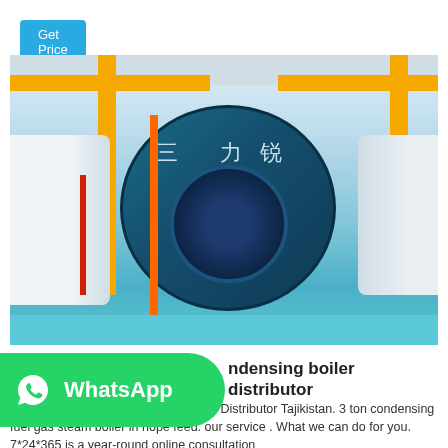Get Price
[Figure (photo): Industrial boiler room with a large blue cylindrical gas/oil-fired steam boiler featuring a blue burner front, yellow overhead piping, orange pipe accent, red pipes, white insulated tanks on sides, blue floor, and Chinese characters on the boiler body.]
WhatsApp
ndensing boiler distributor
P-ton Oil Powered Condensing Boiler Distributor Tajikistan. 3 ton condensing fuel gas steam boiler in hope feed. our service . What we can do for you. 7*24*365 is a year-round online consultation